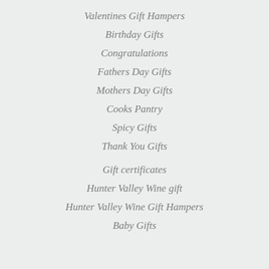Valentines Gift Hampers
Birthday Gifts
Congratulations
Fathers Day Gifts
Mothers Day Gifts
Cooks Pantry
Spicy Gifts
Thank You Gifts
Gift certificates
Hunter Valley Wine gift
Hunter Valley Wine Gift Hampers
Baby Gifts